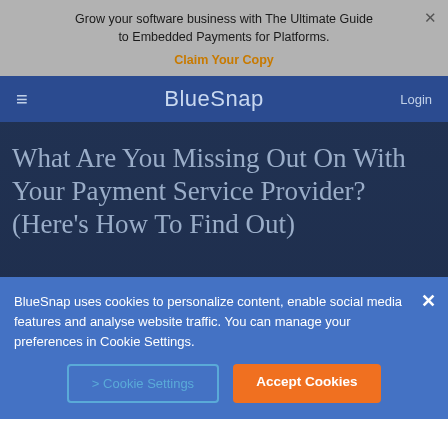Grow your software business with The Ultimate Guide to Embedded Payments for Platforms. Claim Your Copy
BlueSnap  Login
What Are You Missing Out On With Your Payment Service Provider? (Here's How To Find Out)
BlueSnap uses cookies to personalize content, enable social media features and analyse website traffic. You can manage your preferences in Cookie Settings.
> Cookie Settings  Accept Cookies